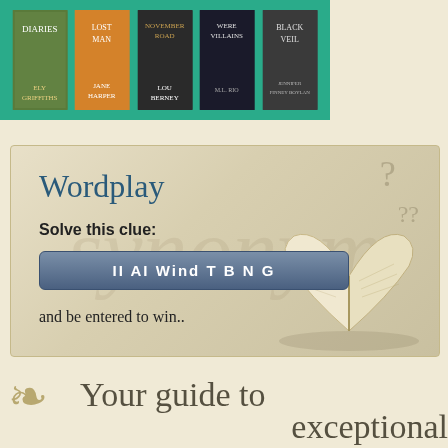[Figure (illustration): Strip of 5 book covers on teal/green background: Diaries (Ely Griffiths), Lost Man (Jane Harper), November Road (Lou Berney), Were Villains (M.L. Rio), Black Veil (Jennifer Finney Boylan)]
[Figure (infographic): Wordplay promotional section with aged parchment background showing question marks and open book illustration. Title: Wordplay. Text: Solve this clue: II AI Wind T B N G. and be entered to win..]
Wordplay
Solve this clue:
II AI Wind T B N G
and be entered to win..
Your guide to exceptional books